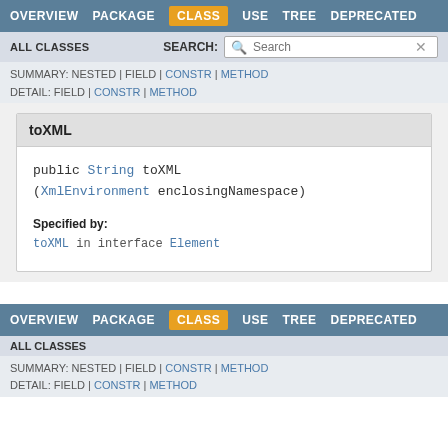OVERVIEW  PACKAGE  CLASS  USE  TREE  DEPRECATED
ALL CLASSES  SEARCH:
SUMMARY: NESTED | FIELD | CONSTR | METHOD
DETAIL: FIELD | CONSTR | METHOD
toXML
public String toXML
(XmlEnvironment enclosingNamespace)
Specified by:
toXML in interface Element
OVERVIEW  PACKAGE  CLASS  USE  TREE  DEPRECATED
ALL CLASSES
SUMMARY: NESTED | FIELD | CONSTR | METHOD
DETAIL: FIELD | CONSTR | METHOD